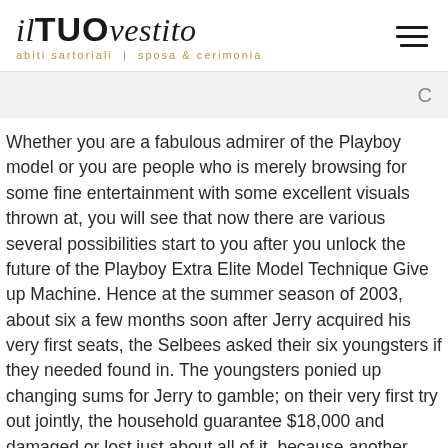il TUO vestito — abiti sartoriali | sposa & cerimonia
Whether you are a fabulous admirer of the Playboy model or you are people who is merely browsing for some fine entertainment with some excellent visuals thrown at, you will see that now there are various several possibilities start to you after you unlock the future of the Playboy Extra Elite Model Technique Give up Machine. Hence at the summer season of 2003, about six a few months soon after Jerry acquired his very first seats, the Selbees asked their six youngsters if they needed found in. The youngsters ponied up changing sums for Jerry to gamble; on their very first try out jointly, the household guarantee $18,000 and damaged or lost just about all of it, because another bettor reach the six-number jackpot. There are pickles around casino old platforms to power the good old